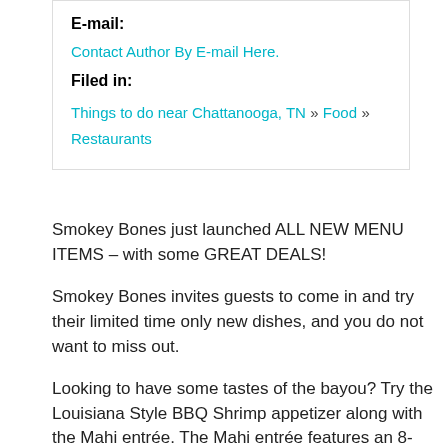E-mail:
Contact Author By E-mail Here.
Filed in:
Things to do near Chattanooga, TN » Food » Restaurants
Smokey Bones just launched ALL NEW MENU ITEMS – with some GREAT DEALS!
Smokey Bones invites guests to come in and try their limited time only new dishes, and you do not want to miss out.
Looking to have some tastes of the bayou? Try the Louisiana Style BBQ Shrimp appetizer along with the Mahi entrée. The Mahi entrée features an 8-